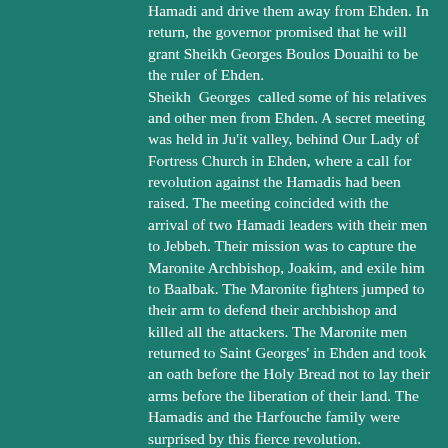Hamadi and drive them away from Ehden. In return, the governor promised that he will grant Sheikh Georges Boulos Douaihi to be the ruler of Ehden. Sheikh Georges called some of his relatives and other men from Ehden. A secret meeting was held in Ju'it valley, behind Our Lady of Fortress Church in Ehden, where a call for revolution against the Hamadis had been raised. The meeting coincided with the arrival of two Hamadi leaders with their men to Jebbeh. Their mission was to capture the Maronite Archbishop, Joakim, and exile him to Baalbak. The Maronite fighters jumped to their arm to defend their archbishop and killed all the attackers. The Maronite men returned to Saint Georges' in Ehden and took an oath before the Holy Bread not to lay their arms before the liberation of their land. The Hamadis and the Harfouche family were surprised by this fierce revolution. The Ehdenians, led by Sheikh Georges Boulos Douaihi attacked the Hamadis in Ehden. A great battle erupted near Sheikh's Mill, and the Ehdenians managed to free their town from the Hamadis and took control over their lands.